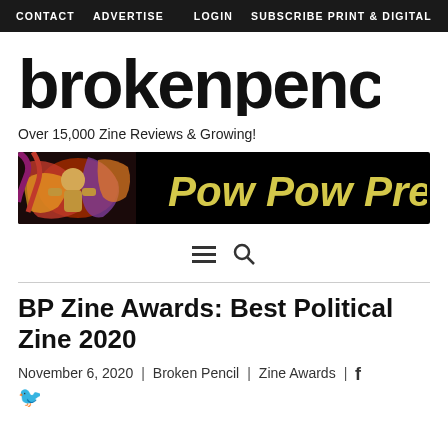CONTACT  ADVERTISE  LOGIN  SUBSCRIBE PRINT & DIGITAL
[Figure (logo): brokenpencil logo in large bold italic black text]
Over 15,000 Zine Reviews & Growing!
[Figure (illustration): Pow Pow Press banner ad with comic book artwork on left and yellow 'Pow Pow Press' text on black background]
[Figure (other): Hamburger menu icon and search icon]
BP Zine Awards: Best Political Zine 2020
November 6, 2020  |  Broken Pencil  |  Zine Awards  |  [facebook icon]  [twitter icon]